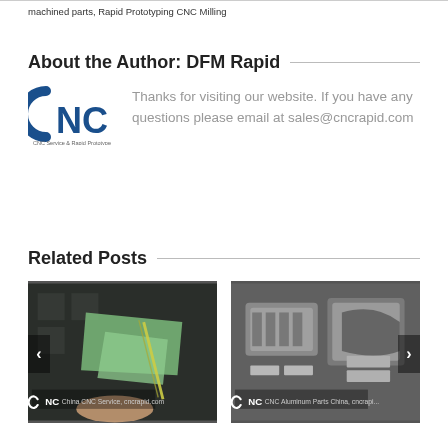machined parts, Rapid Prototyping CNC Milling
About the Author: DFM Rapid
[Figure (logo): CNC Service & Rapid Prototype logo — blue CNC letters with arc on the C, tagline 'CNC Service & Rapid Prototype']
Thanks for visiting our website. If you have any questions please email at sales@cncrapid.com
Related Posts
[Figure (photo): Photo of a green translucent CNC machined acrylic or glass part held by a person, with CNC label overlay reading 'China CNC Service, cncrapid.com']
[Figure (photo): Photo of silver CNC aluminum machined parts/molds with CNC label overlay reading 'CNC Aluminum Parts China, cncrapid.com']